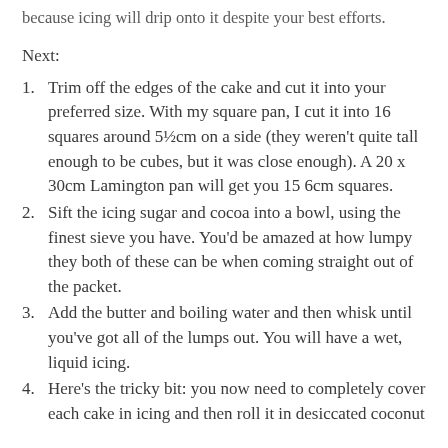because icing will drip onto it despite your best efforts.
Next:
Trim off the edges of the cake and cut it into your preferred size. With my square pan, I cut it into 16 squares around 5½cm on a side (they weren't quite tall enough to be cubes, but it was close enough). A 20 x 30cm Lamington pan will get you 15 6cm squares.
Sift the icing sugar and cocoa into a bowl, using the finest sieve you have. You'd be amazed at how lumpy they both of these can be when coming straight out of the packet.
Add the butter and boiling water and then whisk until you've got all of the lumps out. You will have a wet, liquid icing.
Here's the tricky bit: you now need to completely cover each cake in icing and then roll it in desiccated coconut